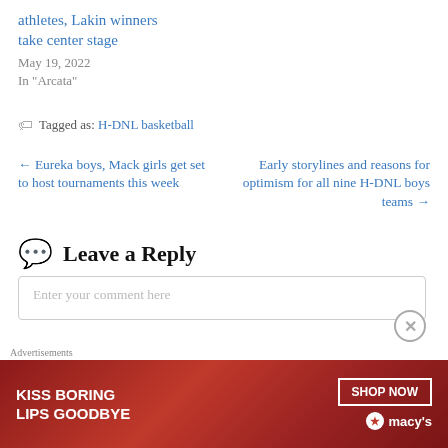athletes, Lakin winners take center stage
May 19, 2022
In "Arcata"
Tagged as: H-DNL basketball
← Eureka boys, Mack girls get set to host tournaments this week
Early storylines and reasons for optimism for all nine H-DNL boys teams →
Leave a Reply
Enter your comment here
Advertisements
[Figure (photo): Macy's advertisement: KISS BORING LIPS GOODBYE with SHOP NOW button and Macy's star logo]